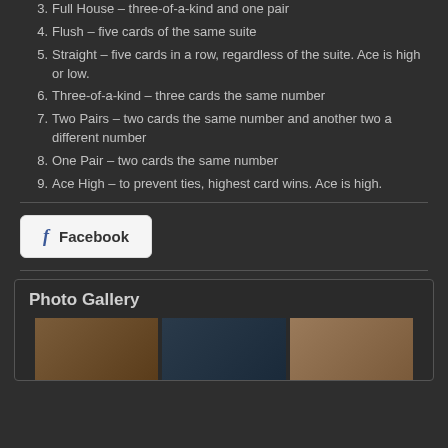3. Full House – three-of-a-kind and one pair
4. Flush – five cards of the same suite
5. Straight – five cards in a row, regardless of the suite. Ace is high or low.
6. Three-of-a-kind – three cards the same number
7. Two Pairs – two cards the same number and another two a different number
8. One Pair – two cards the same number
9. Ace High – to prevent ties, highest card wins. Ace is high.
[Figure (other): Facebook share button with 'f' icon and text 'Facebook']
Photo Gallery
[Figure (photo): Three side-by-side photos in a photo gallery: a person in a room, a curtained room interior, and a brightly lit room]